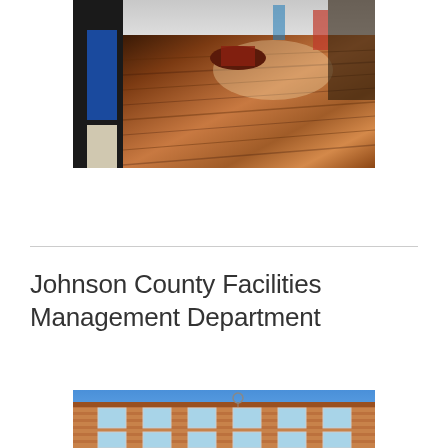[Figure (photo): Interior photo of a room with shiny hardwood flooring, blue wall panels on the left, and a circular display or table in the center background with colorful exhibits.]
Johnson County Facilities Management Department
[Figure (photo): Exterior photo of a brick building facade with windows against a blue sky, appearing to be a government or municipal building.]